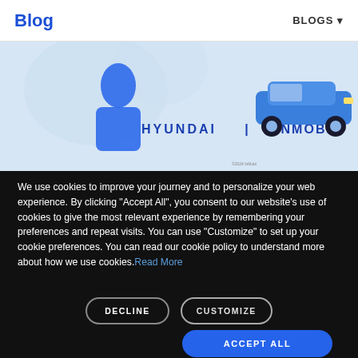Blog   BLOGS
[Figure (screenshot): Hyundai | InMobi advertisement banner showing a blue Hyundai sedan on a light blue background with the text HYUNDAI | INMOBI]
We use cookies to improve your journey and to personalize your web experience. By clicking “Accept All”, you consent to our website’s use of cookies to give the most relevant experience by remembering your preferences and repeat visits. You can use “Customize” to set up your cookie preferences. You can read our cookie policy to understand more about how we use cookies. Read More
DECLINE   CUSTOMIZE
ACCEPT ALL